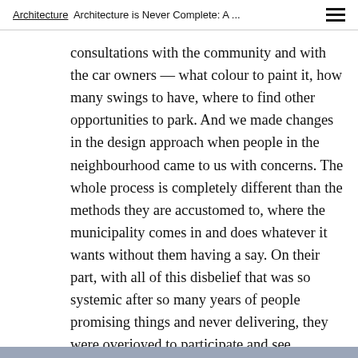Architecture  Architecture is Never Complete: A ...
consultations with the community and with the car owners — what colour to paint it, how many swings to have, where to find other opportunities to park. And we made changes in the design approach when people in the neighbourhood came to us with concerns. The whole process is completely different than the methods they are accustomed to, where the municipality comes in and does whatever it wants without them having a say. On their part, with all of this disbelief that was so systemic after so many years of people promising things and never delivering, they were overjoyed to participate and see something become real.